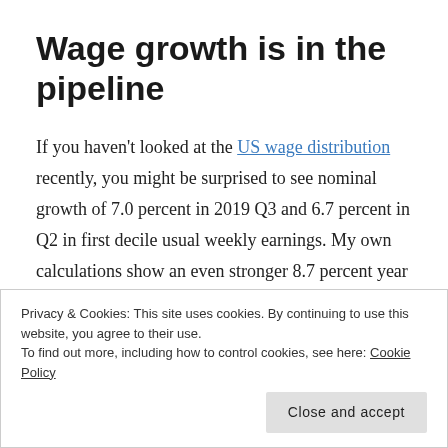Wage growth is in the pipeline
If you haven't looked at the US wage distribution recently, you might be surprised to see nominal growth of 7.0 percent in 2019 Q3 and 6.7 percent in Q2 in first decile usual weekly earnings. My own calculations show an even stronger 8.7 percent year over year increase in October 2019. The increase in the first decile wage seems to be coming from
Privacy & Cookies: This site uses cookies. By continuing to use this website, you agree to their use.
To find out more, including how to control cookies, see here: Cookie Policy